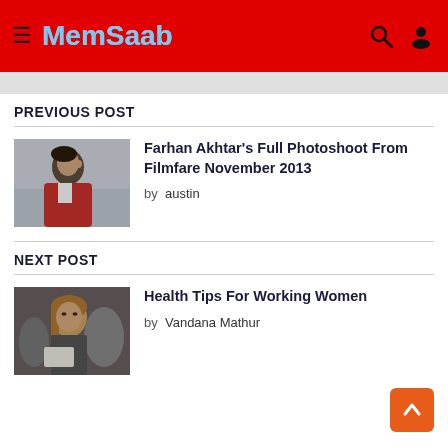MemSaab
PREVIOUS POST
[Figure (photo): Man in red jacket, side profile, black and white/color photo]
Farhan Akhtar's Full Photoshoot From Filmfare November 2013
by austin
NEXT POST
[Figure (photo): Woman with light hair looking down, indoor setting]
Health Tips For Working Women
by Vandana Mathur